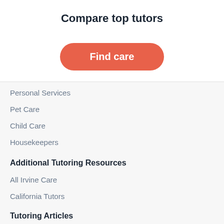Compare top tutors
[Figure (other): Orange rounded button labeled 'Find care']
Personal Services
Pet Care
Child Care
Housekeepers
Additional Tutoring Resources
All Irvine Care
California Tutors
Tutoring Articles
S tips for tutoring...